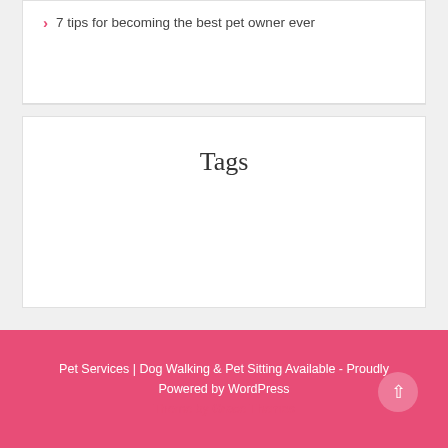7 tips for becoming the best pet owner ever
Tags
Pet Services | Dog Walking & Pet Sitting Available - Proudly Powered by WordPress
Theme by Grace Themes